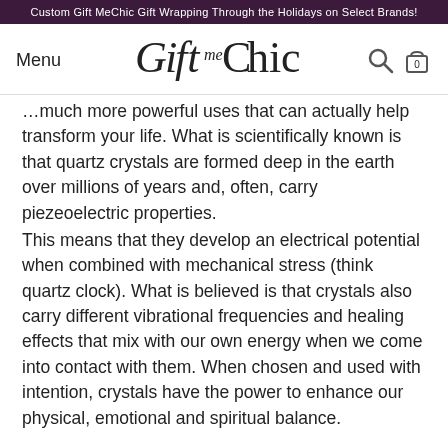Custom Gift MeChic Gift Wrapping Through the Holidays on Select Brands!
Menu
[Figure (logo): GiftMeChic logo in stylized serif lettering]
…much more powerful uses that can actually help transform your life. What is scientifically known is that quartz crystals are formed deep in the earth over millions of years and, often, carry piezeoelectric properties.
This means that they develop an electrical potential when combined with mechanical stress (think quartz clock). What is believed is that crystals also carry different vibrational frequencies and healing effects that mix with our own energy when we come into contact with them. When chosen and used with intention, crystals have the power to enhance our physical, emotional and spiritual balance.
Paige has incorporated these beliefs into her work and has made it easy to find your personal crystal prescription through her Gem Story Oils and signature jewelry.